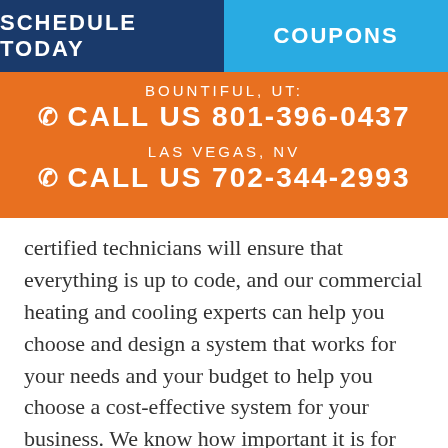SCHEDULE TODAY | COUPONS
BOUNTIFUL, UT:
CALL US 801-396-0437
LAS VEGAS, NV
CALL US 702-344-2993
certified technicians will ensure that everything is up to code, and our commercial heating and cooling experts can help you choose and design a system that works for your needs and your budget to help you choose a cost-effective system for your business. We know how important it is for local business owners to keep the business